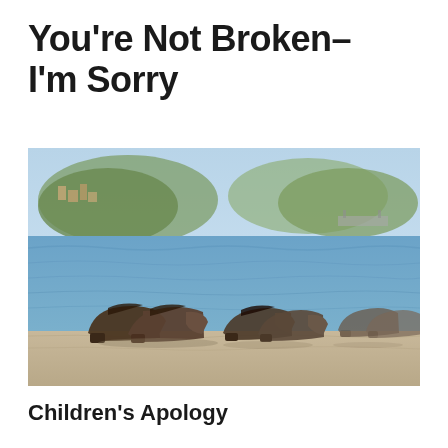You're Not Broken–I'm Sorry
[Figure (photo): Bronze cast shoes on the edge of a stone embankment along a river, with a blurred cityscape and hills in the background. The Shoes on the Danube Bank memorial in Budapest, Hungary.]
Children's Apology